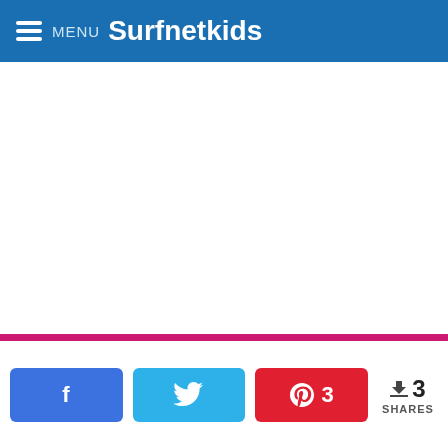MENU Surfnetkids
[Figure (screenshot): White blank content area]
3 SHARES